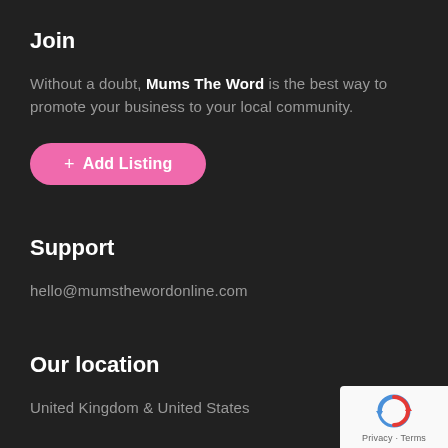Join
Without a doubt, Mums The Word is the best way to promote your business to your local community.
[Figure (other): Pink rounded button with plus icon and text '+ Add Listing']
Support
hello@mumsthewordonline.com
Our location
United Kingdom & United States
[Figure (logo): Google reCAPTCHA badge with Privacy and Terms text]